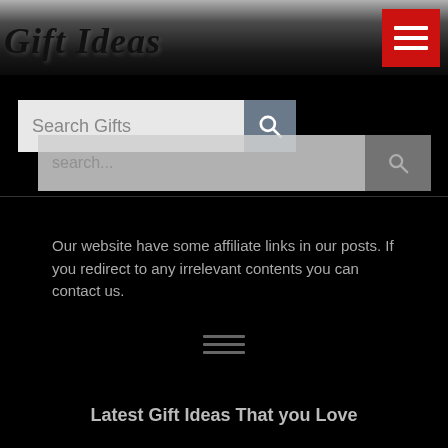Gift Ideas
[Figure (screenshot): Red hamburger menu button in top right of header]
[Figure (screenshot): Primary search bar with placeholder 'Search Gifts' and search button]
[Figure (screenshot): Secondary/ghost search bar with placeholder 'search...' and search button]
Our website have some affiliate links in our posts. If you redirect to any irrelevant contents you can contact us.
[Figure (other): Hamburger menu icon (three horizontal lines) centered on dark background]
Latest Gift Ideas That you Love